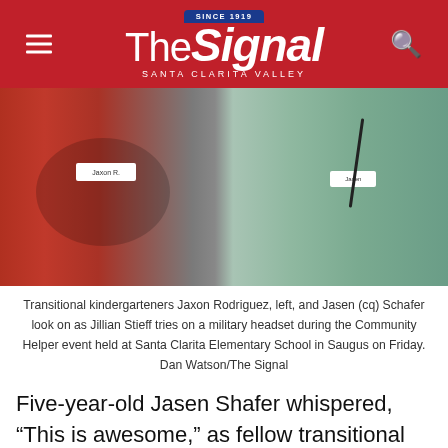The Signal — Santa Clarita Valley (since 1919)
[Figure (photo): Two transitional kindergarteners photographed outdoors. Child on left wears a red Mickey Mouse shirt with a name tag reading 'Jaxon R.' Child on right wears a teal shirt with a name tag and holds a military headset around their neck.]
Transitional kindergarteners Jaxon Rodriguez, left, and Jasen (cq) Schafer look on as Jillian Stieff tries on a military headset during the Community Helper event held at Santa Clarita Elementary School in Saugus on Friday. Dan Watson/The Signal
Five-year-old Jasen Shafer whispered, “This is awesome,” as fellow transitional kindergartner Jillian Stieff was hoisted into the city of Santa Clarita Public Works’ boom truck bucket.